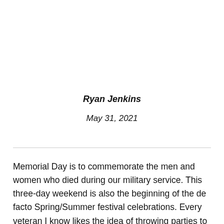Ryan Jenkins
May 31, 2021
Memorial Day is to commemorate the men and women who died during our military service. This three-day weekend is also the beginning of the de facto Spring/Summer festival celebrations. Every veteran I know likes the idea of throwing parties to celebrate the fallen. Respect and celebration are